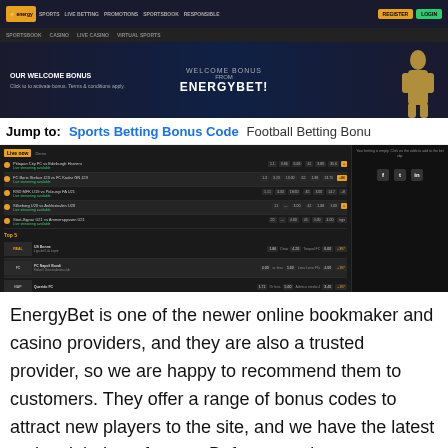[Figure (screenshot): EnergyBet website screenshot showing the navigation bar with logo, nav links, Register and Login buttons, a welcome bonus banner, and a sportsbook interface with live betting odds and Top 5 matches.]
Jump to:   Sports Betting Bonus Code   Football Betting Bonu
EnergyBet is one of the newer online bookmaker and casino providers, and they are also a trusted provider, so we are happy to recommend them to customers. They offer a range of bonus codes to attract new players to the site, and we have the latest codes right here for you. Before you sign up to any offers with any of the companies on the site, we strongly recommend you read the terms and conditions so